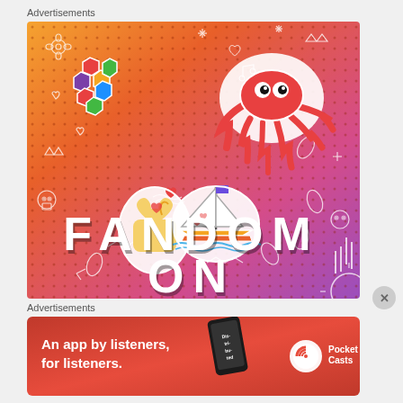Advertisements
[Figure (illustration): Colorful orange-to-purple gradient advertisement image with doodle illustrations including dice, a crab sticker, a K-pop finger heart sticker, a sailboat sticker, skull icons, crowns, music notes, stars, hearts, and other decorative doodles. Large bold white text reads 'FANDOM ON' with a drop shadow effect.]
Advertisements
[Figure (illustration): Red banner advertisement for Pocket Casts app showing a smartphone, text 'An app by listeners, for listeners.' and the Pocket Casts logo.]